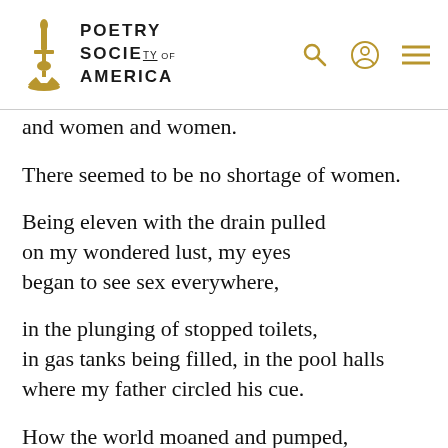POETRY SOCIETY OF AMERICA
and women and women.
There seemed to be no shortage of women.
Being eleven with the drain pulled
on my wondered lust, my eyes
began to see sex everywhere,
in the plunging of stopped toilets,
in gas tanks being filled, in the pool halls
where my father circled his cue.
How the world moaned and pumped,